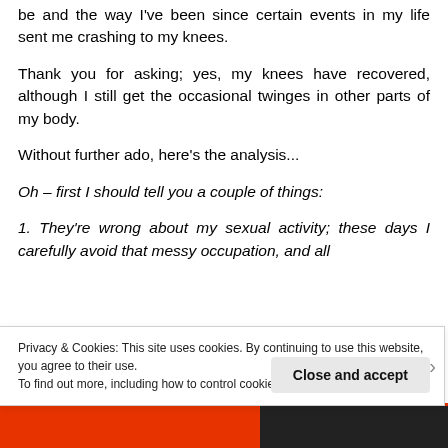be and the way I've been since certain events in my life sent me crashing to my knees.
Thank you for asking; yes, my knees have recovered, although I still get the occasional twinges in other parts of my body.
Without further ado, here's the analysis...
Oh – first I should tell you a couple of things:
1. They're wrong about my sexual activity; these days I carefully avoid that messy occupation, and all
Privacy & Cookies: This site uses cookies. By continuing to use this website, you agree to their use.
To find out more, including how to control cookies, see here: Cookie Policy